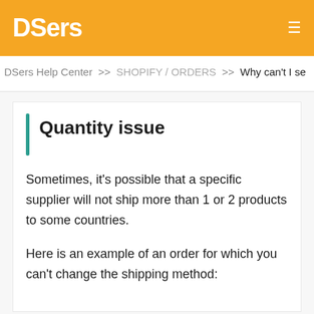DSers
DSers Help Center >> SHOPIFY / ORDERS >> Why can't I se
Quantity issue
Sometimes, it's possible that a specific supplier will not ship more than 1 or 2 products to some countries.
Here is an example of an order for which you can't change the shipping method: